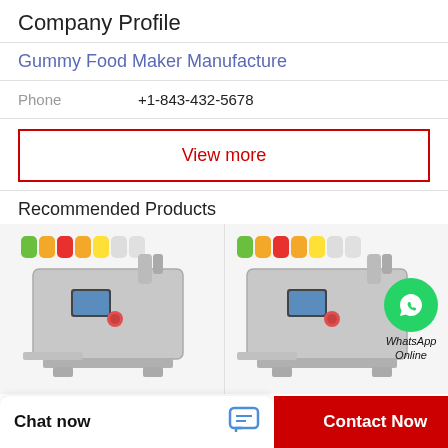Company Profile
Gummy Food Maker Manufacture
Phone   +1-843-432-5678
View more
Recommended Products
[Figure (photo): Two gummy candy making machines side by side, with colorful gummy bears displayed above each machine]
[Figure (infographic): WhatsApp Online chat bubble icon]
Chat now
Contact Now